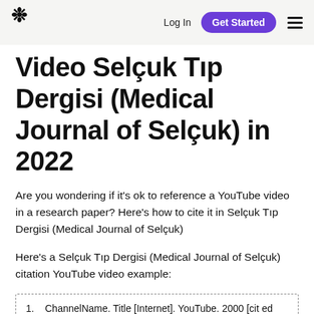* Log In Get Started ☰
Video Selçuk Tıp Dergisi (Medical Journal of Selçuk) in 2022
Are you wondering if it's ok to reference a YouTube video in a research paper? Here's how to cite it in Selçuk Tıp Dergisi (Medical Journal of Selçuk)
Here's a Selçuk Tıp Dergisi (Medical Journal of Selçuk) citation YouTube video example:
1.   ChannelName. Title [Internet]. YouTube. 2000 [cited 2022Aug.18]. Available from: https://www.youtube.